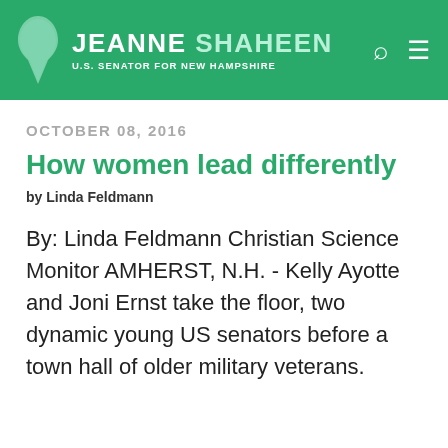JEANNE SHAHEEN U.S. SENATOR FOR NEW HAMPSHIRE
OCTOBER 08, 2016
How women lead differently
by Linda Feldmann
By: Linda Feldmann Christian Science Monitor AMHERST, N.H. - Kelly Ayotte and Joni Ernst take the floor, two dynamic young US senators before a town hall of older military veterans.